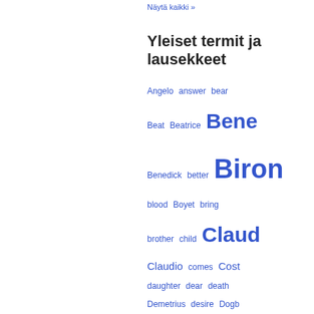Näytä kaikki »
Yleiset termit ja lausekkeet
Angelo answer bear Beat Beatrice Bene Benedick better Biron blood Boyet bring brother child Claud Claudio comes Cost daughter dear death Demetrius desire Dogb doth Duke Enter Escal Exeunt Exit eyes face fair father fear follow fool friar gentle give grace hand